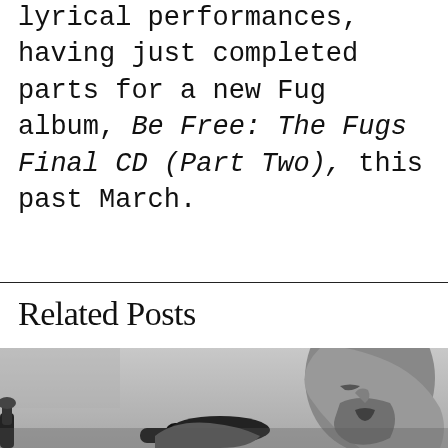lyrical performances, having just completed parts for a new Fug album, Be Free: The Fugs Final CD (Part Two), this past March.
Related Posts
[Figure (photo): Black and white photograph of a bearded man singing into a microphone, face tilted upward with eyes closed, shot from a low angle against a light grey sky.]